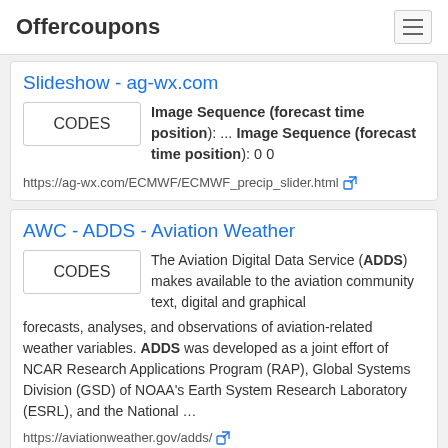Offercoupons
Slideshow - ag-wx.com
Image Sequence (forecast time position): ... Image Sequence (forecast time position): 0 0
https://ag-wx.com/ECMWF/ECMWF_precip_slider.html
AWC - ADDS - Aviation Weather
The Aviation Digital Data Service (ADDS) makes available to the aviation community text, digital and graphical forecasts, analyses, and observations of aviation-related weather variables. ADDS was developed as a joint effort of NCAR Research Applications Program (RAP), Global Systems Division (GSD) of NOAA's Earth System Research Laboratory (ESRL), and the National …
https://aviationweather.gov/adds/